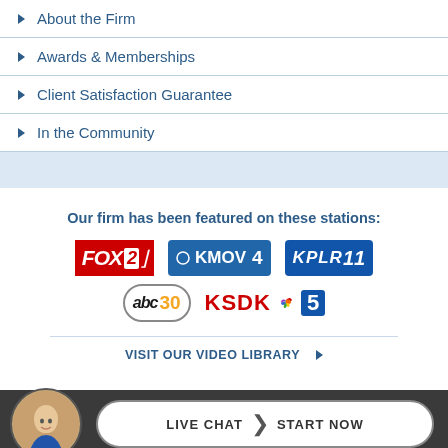About the Firm
Awards & Memberships
Client Satisfaction Guarantee
In the Community
Our firm has been featured on these stations:
[Figure (logo): TV station logos: FOX 2, KMOV 4, KPLR 11, abc30, KSDK NBC 5]
VISIT OUR VIDEO LIBRARY
LIVE CHAT START NOW